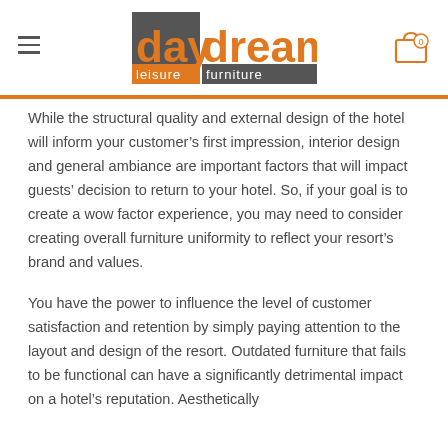daydream leisure furniture
While the structural quality and external design of the hotel will inform your customer’s first impression, interior design and general ambiance are important factors that will impact guests’ decision to return to your hotel. So, if your goal is to create a wow factor experience, you may need to consider creating overall furniture uniformity to reflect your resort’s brand and values.
You have the power to influence the level of customer satisfaction and retention by simply paying attention to the layout and design of the resort. Outdated furniture that fails to be functional can have a significantly detrimental impact on a hotel’s reputation. Aesthetically